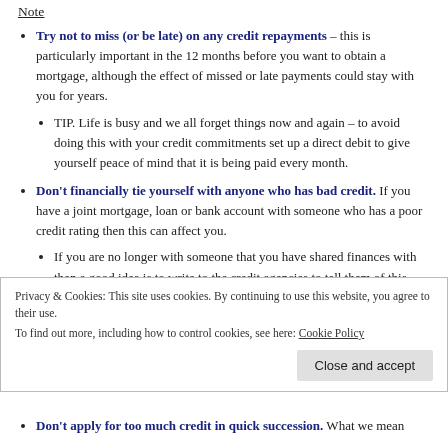Note
Try not to miss (or be late) on any credit repayments – this is particularly important in the 12 months before you want to obtain a mortgage, although the effect of missed or late payments could stay with you for years.
TIP. Life is busy and we all forget things now and again – to avoid doing this with your credit commitments set up a direct debit to give yourself peace of mind that it is being paid every month.
Don't financially tie yourself with anyone who has bad credit. If you have a joint mortgage, loan or bank account with someone who has a poor credit rating then this can affect you.
If you are no longer with someone that you have shared finances with then a good idea is to write to the credit agencies to tell them of this disassociation. This means that their credit history will not affect yours in the future. NOTE. make sure you have settled and
Privacy & Cookies: This site uses cookies. By continuing to use this website, you agree to their use. To find out more, including how to control cookies, see here: Cookie Policy
Don't apply for too much credit in quick succession. What we mean